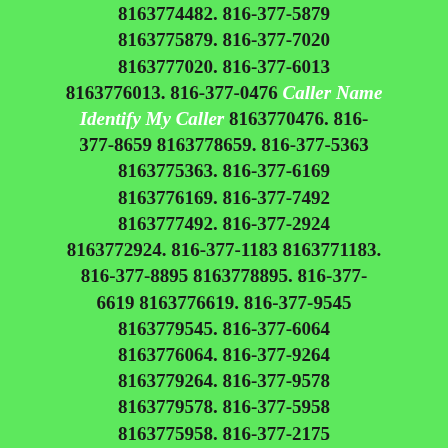8163779939. 816-377-1105 8163771105. 816-377-3226 8163773226. 816-377-1586 8163771586. 816-377-9755 8163779755. 816-377-4482 8163774482. 816-377-5879 8163775879. 816-377-7020 8163777020. 816-377-6013 8163776013. 816-377-0476 Caller Name Identify My Caller 8163770476. 816-377-8659 8163778659. 816-377-5363 8163775363. 816-377-6169 8163776169. 816-377-7492 8163777492. 816-377-2924 8163772924. 816-377-1183 8163771183. 816-377-8895 8163778895. 816-377-6619 8163776619. 816-377-9545 8163779545. 816-377-6064 8163776064. 816-377-9264 8163779264. 816-377-9578 8163779578. 816-377-5958 8163775958. 816-377-2175 8163772175. 816-377-0111 Caller Name Identify My Caller 8163770111. 816-377-8009 8163778009. 816-377-1200 8163771200. 816-377-5658